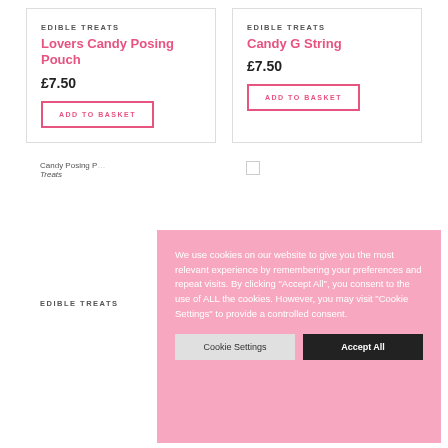EDIBLE TREATS
Lovers Candy Posing Pouch
£7.50
ADD TO BASKET
EDIBLE TREATS
Candy G String
£7.50
ADD TO BASKET
[Figure (photo): Candy Posing Pouch product image (partial, alt text visible)]
Edible Treats
We use cookies on our website to give you the most relevant experience by remembering your preferences and repeat visits. By clicking "Accept All", you consent to the use of ALL the cookies. However, you may visit "Cookie Settings" to provide a controlled consent.
Cookie Settings
Accept All
EDIBLE TREATS
EDIBLE TREATS